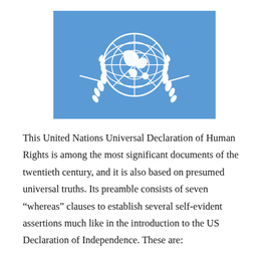[Figure (illustration): United Nations flag: a light blue rectangle with the UN emblem (white globe with olive branches) centered on it.]
This United Nations Universal Declaration of Human Rights is among the most significant documents of the twentieth century, and it is also based on presumed universal truths. Its preamble consists of seven “whereas” clauses to establish several self-evident assertions much like in the introduction to the US Declaration of Independence. These are: